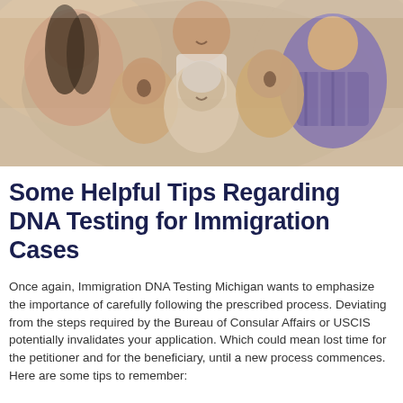[Figure (photo): A multi-generational family of six people (adults and children) lying together and smiling, photographed from above. Includes a woman with long dark hair, a man, two young boys, an elderly woman, and an older boy in a purple striped shirt.]
Some Helpful Tips Regarding DNA Testing for Immigration Cases
Once again, Immigration DNA Testing Michigan wants to emphasize the importance of carefully following the prescribed process. Deviating from the steps required by the Bureau of Consular Affairs or USCIS potentially invalidates your application. Which could mean lost time for the petitioner and for the beneficiary, until a new process commences. Here are some tips to remember: